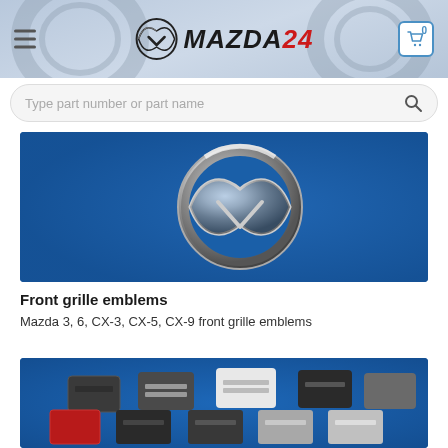[Figure (screenshot): Mazda24 website header with logo, hamburger menu, and cart icon on a light blue-grey background]
[Figure (screenshot): Search bar with placeholder text 'Type part number or part name' and magnifying glass icon]
[Figure (photo): Close-up photo of a chrome Mazda wing emblem on a blue background - front grille emblem]
Front grille emblems
Mazda 3, 6, CX-3, CX-5, CX-9 front grille emblems
[Figure (photo): Multiple Mazda trunk/grille badge clips in various colors (dark grey, silver, white, grey, red) on a blue background]